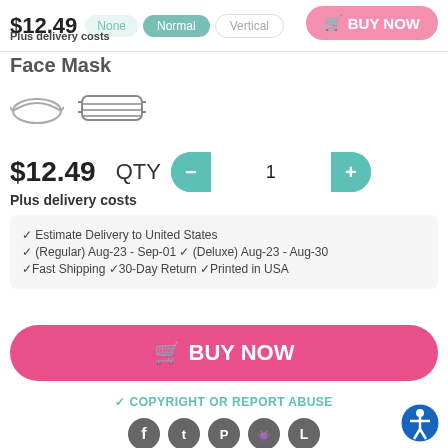Repeat Art
$12.49
Plus delivery costs
BUY NOW
Face Mask
[Figure (illustration): Two face mask icons side by side]
$12.49
QTY
1
Plus delivery costs
✓ Estimate Delivery to United States
✓ (Regular)  Aug-23 - Sep-01 ✓ (Deluxe)  Aug-23 - Aug-30
✓Fast Shipping ✓30-Day Return ✓Printed in USA
🛒 BUY NOW
✓ COPYRIGHT OR REPORT ABUSE
[Figure (illustration): Social media icons: Facebook, Twitter, Pinterest, Reddit, and one more]